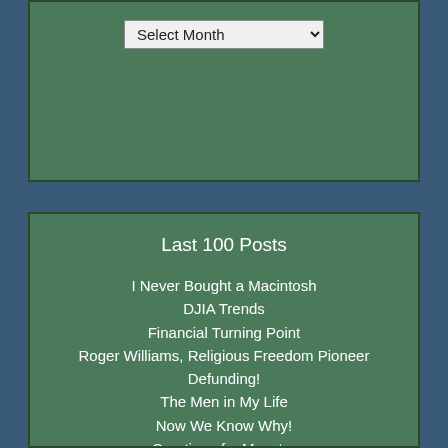[Figure (other): Dropdown select box with 'Select Month' placeholder on green background]
Last 100 Posts
I Never Bought a Macintosh
DJIA Trends
Financial Turning Point
Roger Williams, Religious Freedom Pioneer
Defunding!
The Men in My Life
Now We Know Why!
Creation of a Monster
Strong Economy? Give Me A Break!
Created Equal
Missed Opportunity
Thoughts on Judge Kavanaugh
I Liked and Like Ike
Oh Death!
Erik Larson's In the Garden of Beasts